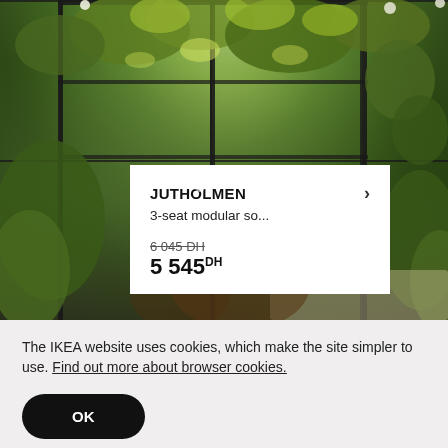[Figure (photo): Outdoor garden lounge area with lush green plants hanging overhead, dark metal frame pergola structure, and a rattan sofa with white cushions. An IKEA product card overlay shows JUTHOLMEN 3-seat modular sofa with pricing.]
JUTHOLMEN
3-seat modular so...
6 045 DH
5 545 DH
The IKEA website uses cookies, which make the site simpler to use. Find out more about browser cookies.
OK